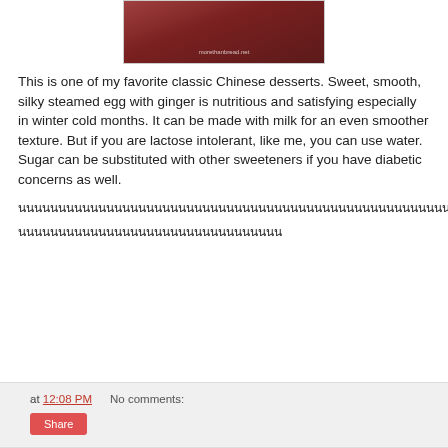[Figure (photo): Photo of a red bowl/cup with food (steamed egg dessert), with watermark 'morethanbread.net' in lower center]
This is one of my favorite classic Chinese desserts. Sweet, smooth, silky steamed egg with ginger is nutritious and satisfying especially in winter cold months. It can be made with milk for an even smoother texture. But if you are lactose intolerant, like me, you can use water. Sugar can be substituted with other sweeteners if you have diabetic concerns as well.
[Thai text line 1]
[Thai text line 2]
at 12:08 PM   No comments:   Share